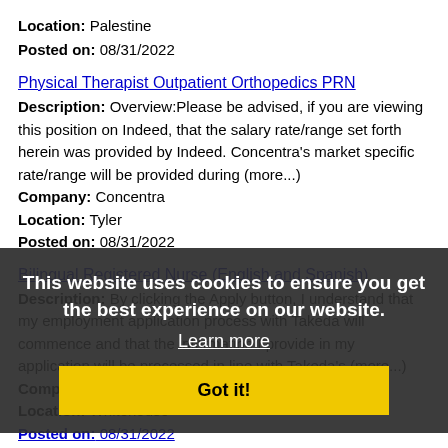Location: Palestine
Posted on: 08/31/2022
Physical Therapist Outpatient Orthopedics PRN
Description: Overview:Please be advised, if you are viewing this position on Indeed, that the salary rate/range set forth herein was provided by Indeed. Concentra's market specific rate/range will be provided during (more...)
Company: Concentra
Location: Tyler
Posted on: 08/31/2022
Bilingual Registered Nurse (English and Spanish)
Description: By clicking the Apply button, I understand that my employment application process with Takeda will commence and that the information I provide in my application will be processed in line with Takeda's (more...)
Company: Biolife Plasma Services
Location: Whitehouse
Posted on: 08/31/2022
Loading more jobs...
This website uses cookies to ensure you get the best experience on our website.
Learn more
Got it!